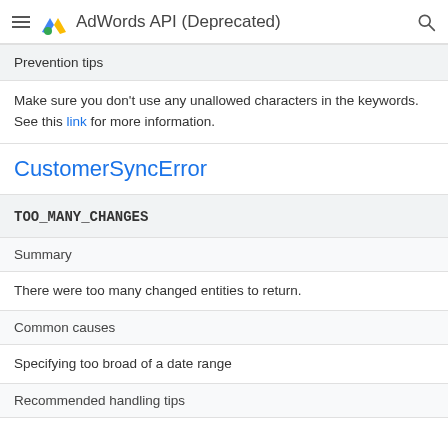AdWords API (Deprecated)
Prevention tips
Make sure you don't use any unallowed characters in the keywords. See this link for more information.
CustomerSyncError
TOO_MANY_CHANGES
Summary
There were too many changed entities to return.
Common causes
Specifying too broad of a date range
Recommended handling tips